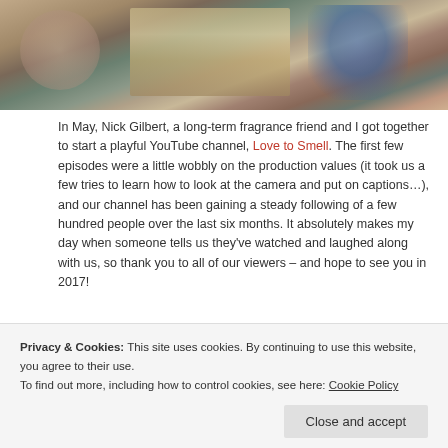[Figure (photo): Group of people seated at a table, one with purple hair, having afternoon tea with tiered cake stands and drinks]
In May, Nick Gilbert, a long-term fragrance friend and I got together to start a playful YouTube channel, Love to Smell. The first few episodes were a little wobbly on the production values (it took us a few tries to learn how to look at the camera and put on captions…), and our channel has been gaining a steady following of a few hundred people over the last six months. It absolutely makes my day when someone tells us they've watched and laughed along with us, so thank you to all of our viewers – and hope to see you in 2017!
[Figure (screenshot): YouTube embedded video player bar showing YouTube logo and interface controls]
Privacy & Cookies: This site uses cookies. By continuing to use this website, you agree to their use.
To find out more, including how to control cookies, see here: Cookie Policy
Close and accept